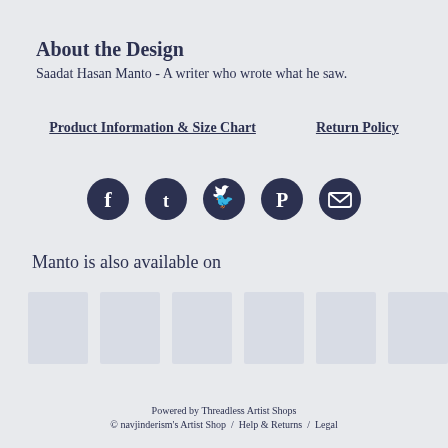About the Design
Saadat Hasan Manto - A writer who wrote what he saw.
Product Information & Size Chart     Return Policy
[Figure (infographic): Row of 5 social media icons (Facebook, Tumblr, Twitter, Pinterest, Email) as dark navy filled circles with white symbols]
Manto is also available on
[Figure (other): Row of 6 light grey product thumbnail placeholder images]
Powered by Threadless Artist Shops © navjinderism's Artist Shop / Help & Returns / Legal